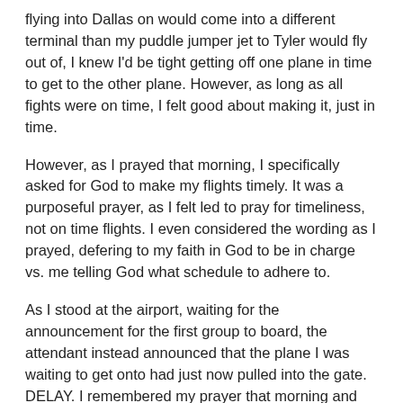flying into Dallas on would come into a different terminal than my puddle jumper jet to Tyler would fly out of, I knew I'd be tight getting off one plane in time to get to the other plane. However, as long as all fights were on time, I felt good about making it, just in time.
However, as I prayed that morning, I specifically asked for God to make my flights timely. It was a purposeful prayer, as I felt led to pray for timeliness, not on time flights. I even considered the wording as I prayed, defering to my faith in God to be in charge vs. me telling God what schedule to adhere to.
As I stood at the airport, waiting for the announcement for the first group to board, the attendant instead announced that the plane I was waiting to get onto had just now pulled into the gate. DELAY. I remembered my prayer that morning and rested on my faith that God would take care of this. My thoughts went to several ways He would be able to do this.
My flight out of DFW could be delayed by the same amount of time